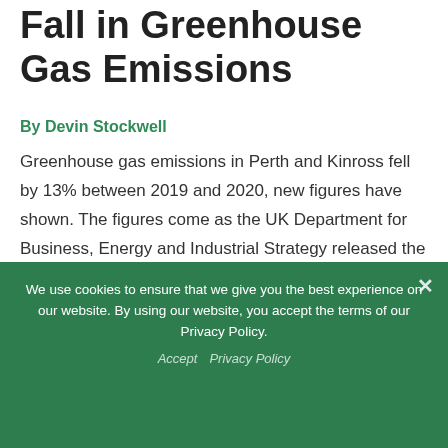Fall in Greenhouse Gas Emissions
By Devin Stockwell
Greenhouse gas emissions in Perth and Kinross fell by 13% between 2019 and 2020, new figures have shown. The figures come as the UK Department for Business, Energy and Industrial Strategy released the 2020 territorial climate change emissions data. Speaking about the fall Councillor Richard Watters, the convenor of Perth and Kinross Council's Climate Change ...
We use cookies to ensure that we give you the best experience on our website. By using our website, you accept the terms of our Privacy Policy.
Accept   Privacy Policy